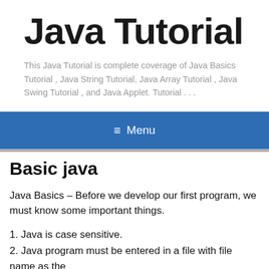Java Tutorial
This Java Tutorial is complete coverage of Java Basics Tutorial , Java String Tutorial, Java Array Tutorial , Java Swing Tutorial , and Java Applet. Tutorial . . .
≡  Menu
Basic java
Java Basics – Before we develop our first program, we must know some important things.
1. Java is case sensitive.
2. Java program must be entered in a file with file name as the